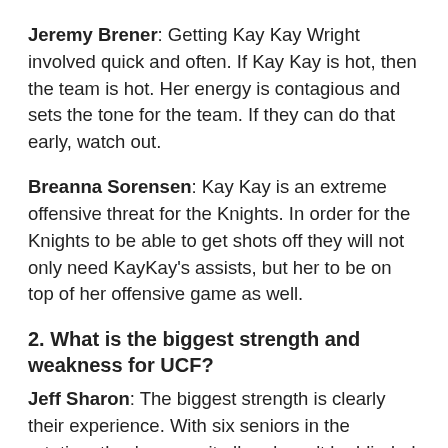Jeremy Brener: Getting Kay Kay Wright involved quick and often. If Kay Kay is hot, then the team is hot. Her energy is contagious and sets the tone for the team. If they can do that early, watch out.
Breanna Sorensen: Kay Kay is an extreme offensive threat for the Knights. In order for the Knights to be able to get shots off they will not only need KayKay's assists, but her to be on top of her offensive game as well.
2. What is the biggest strength and weakness for UCF?
Jeff Sharon: The biggest strength is clearly their experience. With six seniors in the rotation, they've seen it all and won't be blinded by the lights. Their weakness, however, is the lack of scoring outside of